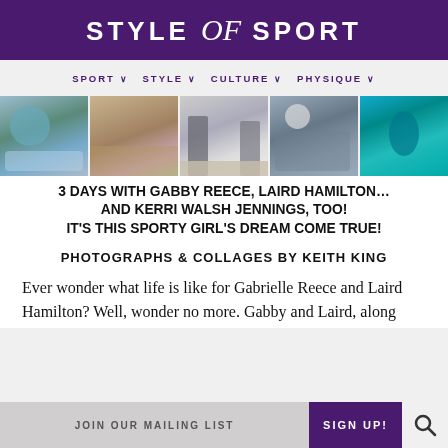STYLE of SPORT
SPORT  STYLE  CULTURE  PHYSIQUE
[Figure (photo): Collage of four sports photos: person in blue sports bra in ice bath, two people training on ground, two people standing on beach in wetsuits, group meditation/yoga session, underwater swim scene]
3 DAYS WITH GABBY REECE, LAIRD HAMILTON… AND KERRI WALSH JENNINGS, TOO! IT'S THIS SPORTY GIRL'S DREAM COME TRUE!
PHOTOGRAPHS & COLLAGES BY KEITH KING
Ever wonder what life is like for Gabrielle Reece and Laird Hamilton? Well, wonder no more. Gabby and Laird, along
JOIN OUR MAILING LIST   SIGN UP!